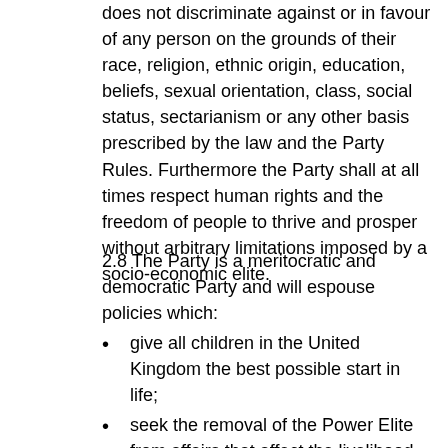does not discriminate against or in favour of any person on the grounds of their race, religion, ethnic origin, education, beliefs, sexual orientation, class, social status, sectarianism or any other basis prescribed by the law and the Party Rules. Furthermore the Party shall at all times respect human rights and the freedom of people to thrive and prosper without arbitrary limitations imposed by a socio-economic elite.
2.8 The Party is a meritocratic and democratic Party and will espouse policies which:
give all children in the United Kingdom the best possible start in life;
seek the removal of the Power Elite from affairs that affect the livelihood of the citizens of the United Kingdom and the world;
favour hard-work, talent and entrepreneurship;